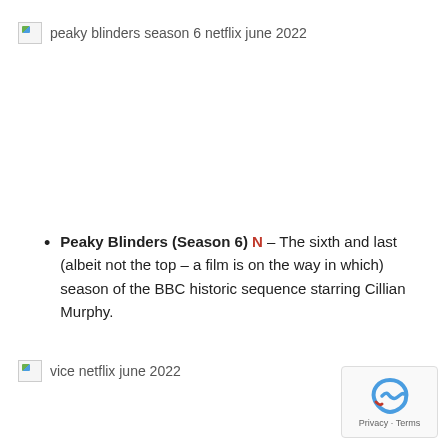[Figure (other): Broken image placeholder with alt text: peaky blinders season 6 netflix june 2022]
Peaky Blinders (Season 6) N – The sixth and last (albeit not the top – a film is on the way in which) season of the BBC historic sequence starring Cillian Murphy.
[Figure (other): Broken image placeholder with alt text: vice netflix june 2022]